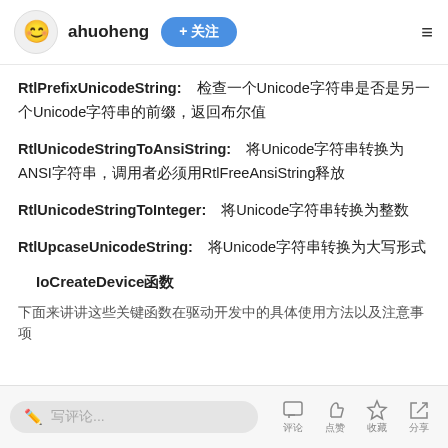ahuoheng + 关注
RtlPrefixUnicodeString: 检查一个Unicode字符串是否是另一个Unicode字符串的前缀，返回布尔值
RtlUnicodeStringToAnsiString: 将Unicode字符串转换为ANSI字符串，调用者必须用RtlFreeAnsiString释放
RtlUnicodeStringToInteger: 将Unicode字符串转换为整数
RtlUpcaseUnicodeString: 将Unicode字符串转换为大写形式
IoCreateDevice函数
下面来讲讲这些关键函数在驱动开发中的具体使用方法以及注意事项
写评论... 评论 点赞 收藏 分享